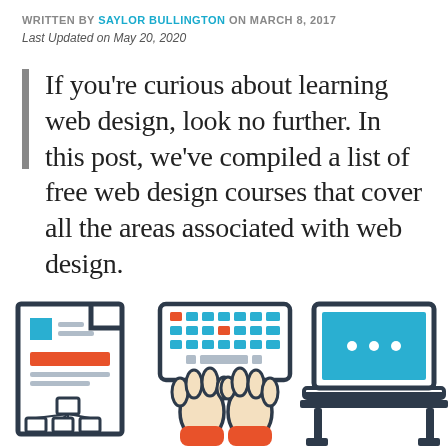WRITTEN BY SAYLOR BULLINGTON ON MARCH 8, 2017
Last Updated on May 20, 2020
If you're curious about learning web design, look no further. In this post, we've compiled a list of free web design courses that cover all the areas associated with web design.
[Figure (illustration): Three icons side by side: a document/wireframe icon with blue and orange elements, a keyboard with hands typing icon with orange and blue colors, and a laptop on a desk icon with cyan screen.]